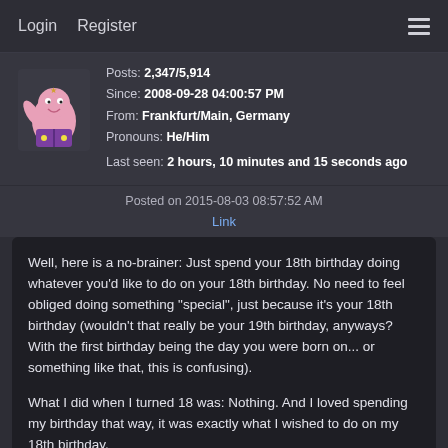Login   Register
Posts: 2,347/5,914
Since: 2008-09-28 04:00:57 PM
From: Frankfurt/Main, Germany
Pronouns: He/Him
Last seen: 2 hours, 10 minutes and 15 seconds ago
Posted on 2015-08-03 08:57:52 AM
Link
Well, here is a no-brainer: Just spend your 18th birthday doing whatever you'd like to do on your 18th birthday. No need to feel obliged doing something "special", just because it's your 18th birthday (wouldn't that really be your 19th birthday, anyways? With the first birthday being the day you were born on... or something like that, this is confusing).

What I did when I turned 18 was: Nothing. And I loved spending my birthday that way, it was exactly what I wished to do on my 18th birthday.

Wait, actually that's not true. I remember now. I was baited